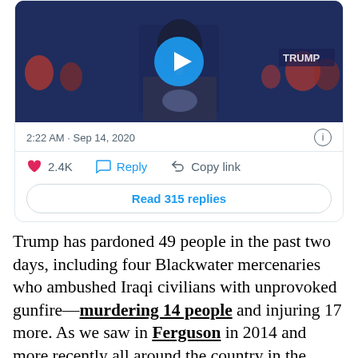[Figure (screenshot): Tweet card with embedded video thumbnail showing a person at a podium, timestamp 2:22 AM Sep 14 2020, 2.4K likes, Reply, Copy link actions, and Read 315 replies button]
Trump has pardoned 49 people in the past two days, including four Blackwater mercenaries who ambushed Iraqi civilians with unprovoked gunfire—murdering 14 people and injuring 17 more. As we saw in Ferguson in 2014 and more recently all around the country in the repression of Black Lives Matter demonstrations, the tactics and technologies